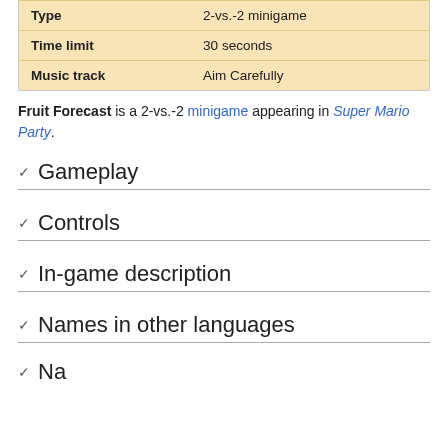|  |  |
| --- | --- |
| Type | 2-vs.-2 minigame |
| Time limit | 30 seconds |
| Music track | Aim Carefully |
Fruit Forecast is a 2-vs.-2 minigame appearing in Super Mario Party.
Gameplay
Controls
In-game description
Names in other languages
Navigation